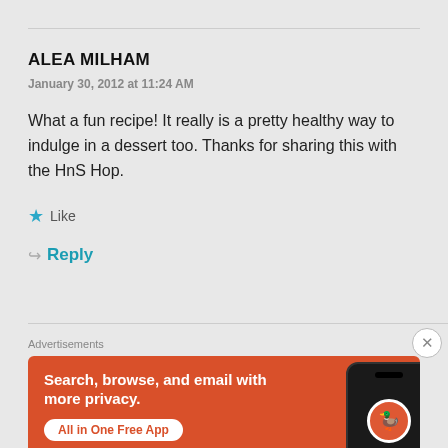ALEA MILHAM
January 30, 2012 at 11:24 AM
What a fun recipe! It really is a pretty healthy way to indulge in a dessert too. Thanks for sharing this with the HnS Hop.
Like
Reply
Advertisements
[Figure (infographic): DuckDuckGo advertisement banner with orange background showing 'Search, browse, and email with more privacy. All in One Free App' with a phone mockup and DuckDuckGo logo]